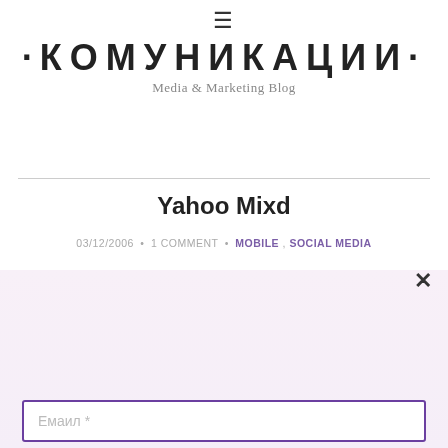☰
·КОМУНИКАЦИИ·
Media & Marketing Blog
Yahoo Mixd
03/12/2006  •  1 COMMENT  •  MOBILE ,  SOCIAL MEDIA
Секој петок во твоето сандаче: преглед на најактуелните маркетинг, SEO, SEM, UX, дизајн теми и линкови од претходниот недела.
Емаил *